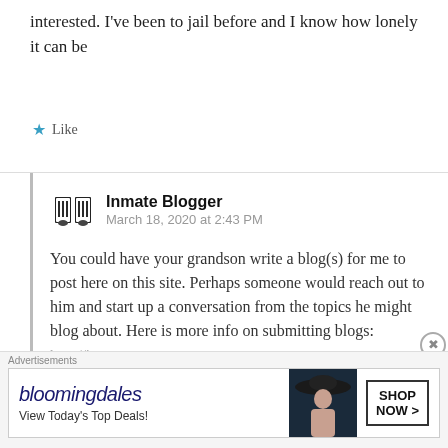interested. I've been to jail before and I know how lonely it can be
★ Like
Inmate Blogger
March 18, 2020 at 2:43 PM

You could have your grandson write a blog(s) for me to post here on this site. Perhaps someone would reach out to him and start up a conversation from the topics he might blog about. Here is more info on submitting blogs:
Advertisements
[Figure (screenshot): Bloomingdale's advertisement banner: 'bloomingdales View Today's Top Deals!' with image of woman in large hat and 'SHOP NOW >' button]